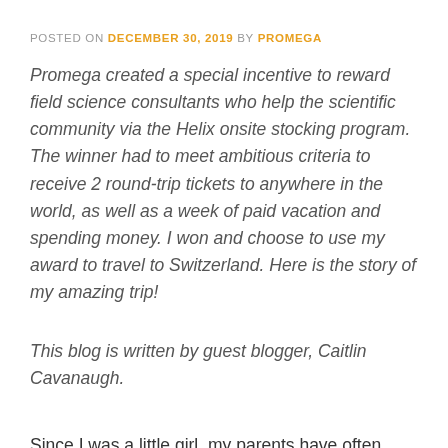POSTED ON DECEMBER 30, 2019 BY PROMEGA
Promega created a special incentive to reward field science consultants who help the scientific community via the Helix onsite stocking program. The winner had to meet ambitious criteria to receive 2 round-trip tickets to anywhere in the world, as well as a week of paid vacation and spending money. I won and choose to use my award to travel to Switzerland. Here is the story of my amazing trip!
This blog is written by guest blogger, Caitlin Cavanaugh.
Since I was a little girl, my parents have often reminisced about one of their favorite overseas